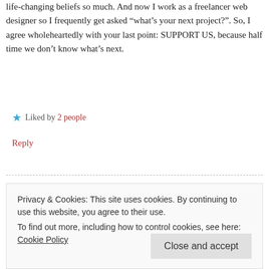life-changing beliefs so much. And now I work as a freelancer web designer so I frequently get asked “what's your next project?”. So, I agree wholeheartedly with your last point: SUPPORT US, because half time we don’t know what’s next.
★ Liked by 2 people
Reply
[Figure (illustration): Avatar icon for user Richard: circular badge with teal/black checkerboard-like pixel pattern on white background with black border]
Richard
— AUGUST 4, 2015 AT 11:56 AM
And so you answered the question beautifully in the
Privacy & Cookies: This site uses cookies. By continuing to use this website, you agree to their use.
To find out more, including how to control cookies, see here: Cookie Policy
Close and accept